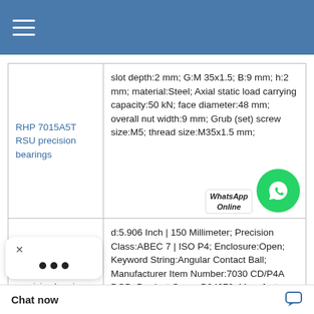Navigation menu header bar
| Product | Specifications |
| --- | --- |
| RHP 7015A5T RSU precision bearings | slot depth:2 mm; G:M 35x1.5; B:9 mm; h:2 mm; material:Steel; Axial static load carrying capacity:50 kN; face diameter:48 mm; overall nut width:9 mm; Grub (set) screw size:M5; thread size:M35x1.5 mm; |
| RHP 7917A5TR precision bearings | d:5.906 Inch | 150 Millimeter; Precision Class:ABEC 7 | ISO P4; Enclosure:Open; Keyword String:Angular Contact Ball; Manufacturer Item Number:7030 CD/P4A DGB; Product Group:B04270; Manufacturer Name:SKF; UNSPSC:31171531; Long Description; 225MM Ou; Ra 1 Rib Outer Ring; |
Chat now